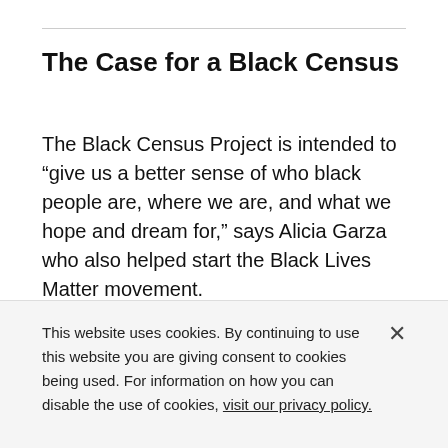The Case for a Black Census
The Black Census Project is intended to “give us a better sense of who black people are, where we are, and what we hope and dream for,” says Alicia Garza who also helped start the Black Lives Matter movement.
IN THE MEDIA — APRIL 9, 2018 — CITY LAB — By TANVI MISRA
This website uses cookies. By continuing to use this website you are giving consent to cookies being used. For information on how you can disable the use of cookies, visit our privacy policy.